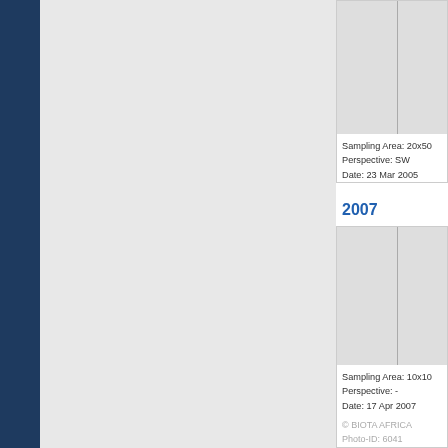[Figure (photo): Partial photo card showing sampling area photo with vertical divider line, top portion cut off]
Sampling Area: 20x50
Perspective: SW
Date: 23 Mar 2005
© BIOTA AFRICA
Photo-ID: 5895
2007
[Figure (photo): Photo card showing sampling area photo with vertical divider line for 2007]
Sampling Area: 10x10
Perspective: -
Date: 17 Apr 2007
© BIOTA AFRICA
Photo-ID: 6041